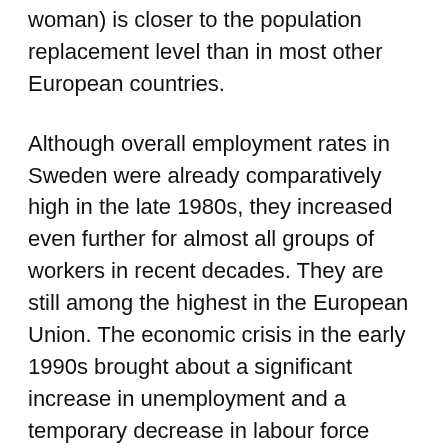woman) is closer to the population replacement level than in most other European countries.
Although overall employment rates in Sweden were already comparatively high in the late 1980s, they increased even further for almost all groups of workers in recent decades. They are still among the highest in the European Union. The economic crisis in the early 1990s brought about a significant increase in unemployment and a temporary decrease in labour force participation (OECD, 2020). Nowadays, unemployment in Sweden is lower than the EU average (Eurostat, 2020). Overall, the 2008 financial crisis had small negative impacts on the Swedish labour market (Albin et al., 2015). Nevertheless, the unemployment rate in Sweden is currently more